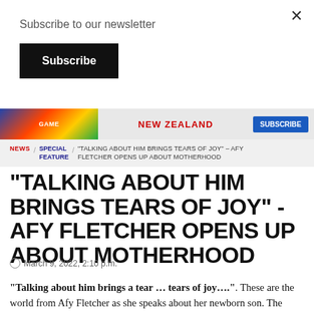Subscribe to our newsletter
Subscribe
[Figure (other): Advertisement banner with NEW ZEALAND text in red, colorful gaming/sports imagery on left, blue button on right]
NEWS / SPECIAL FEATURE / "TALKING ABOUT HIM BRINGS TEARS OF JOY" - AFY FLETCHER OPENS UP ABOUT MOTHERHOOD
"TALKING ABOUT HIM BRINGS TEARS OF JOY" - AFY FLETCHER OPENS UP ABOUT MOTHERHOOD
March 9, 2022, 2:10 p.m.
"Talking about him brings a tear … tears of joy….". These are the world from Afy Fletcher as she speaks about her newborn son. The West Indies allrounder is a proud mother, overjoyed and excited as she had a warm and friendly chat with to